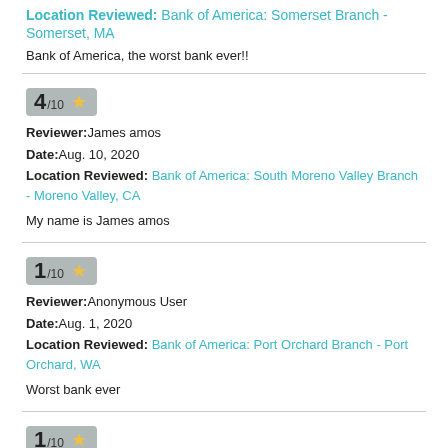Location Reviewed: Bank of America: Somerset Branch - Somerset, MA
Bank of America, the worst bank ever!!
4/10 ★ Reviewer: James amos Date: Aug. 10, 2020 Location Reviewed: Bank of America: South Moreno Valley Branch - Moreno Valley, CA
My name is James amos
1/10 ★ Reviewer: Anonymous User Date: Aug. 1, 2020 Location Reviewed: Bank of America: Port Orchard Branch - Port Orchard, WA
Worst bank ever
1/10 ★